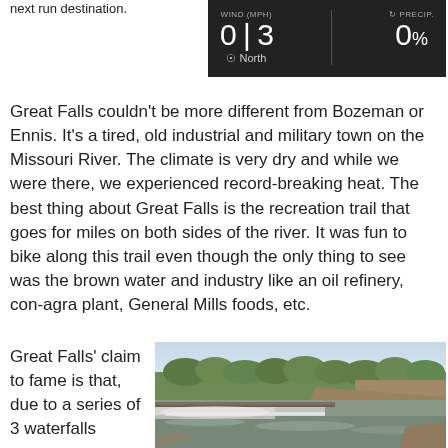next run destination.
[Figure (infographic): Weather widget showing wind speed 0|3 MPH from North and precipitation 0%]
Great Falls couldn't be more different from Bozeman or Ennis. It's a tired, old industrial and military town on the Missouri River. The climate is very dry and while we were there, we experienced record-breaking heat. The best thing about Great Falls is the recreation trail that goes for miles on both sides of the river. It was fun to bike along this trail even though the only thing to see was the brown water and industry like an oil refinery, con-agra plant, General Mills foods, etc.
Great Falls' claim to fame is that, due to a series of 3 waterfalls
[Figure (photo): Photograph of a waterfall or dam on a river with a bridge, rocky terrain and trees in the background]